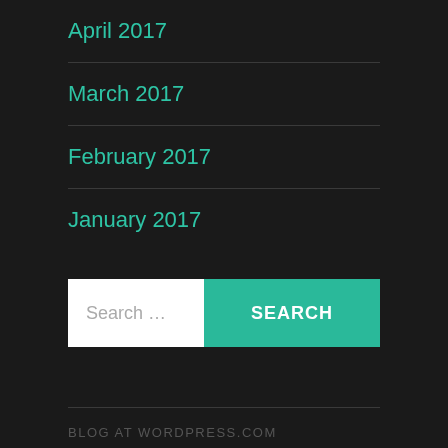April 2017
March 2017
February 2017
January 2017
Search ...
BLOG AT WORDPRESS.COM